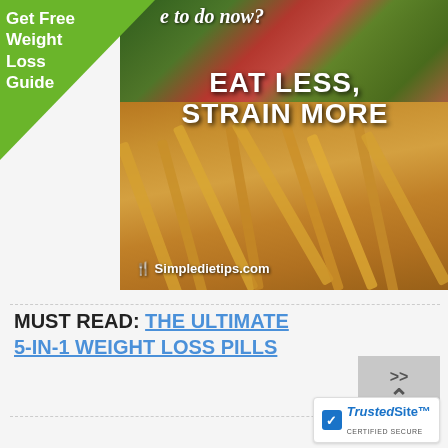[Figure (photo): Food photo showing french fries and salad greens with text overlay 'EAT LESS, STRAIN MORE' and Simpledietips.com watermark]
Get Free Weight Loss Guide
MUST READ: THE ULTIMATE 5-IN-1 WEIGHT LOSS PILLS
[Figure (logo): TrustedSite CERTIFIED SECURE badge]